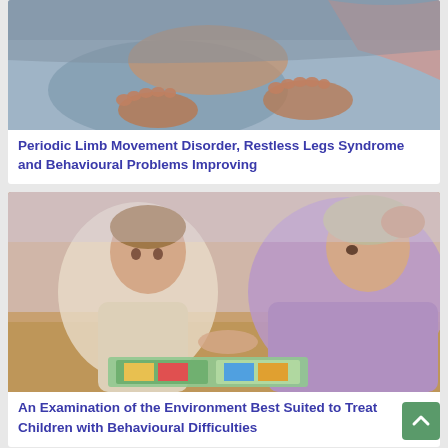[Figure (photo): Close-up photo of bare feet and legs of a person lying on a bed, suggesting restless legs or sleep disorder symptoms]
Periodic Limb Movement Disorder, Restless Legs Syndrome and Behavioural Problems Improving
[Figure (photo): Photo of a young child and an adult woman (mother) lying on the floor reading a picture book together]
An Examination of the Environment Best Suited to Treat Children with Behavioural Difficulties